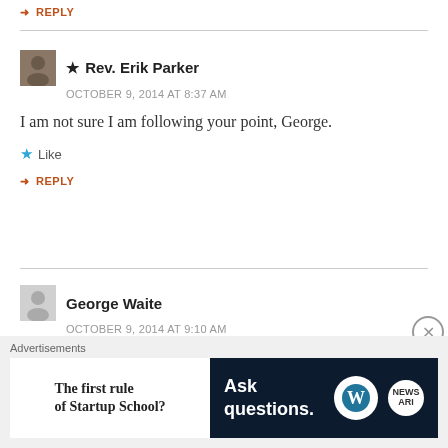↳ REPLY
★ Rev. Erik Parker
OCTOBER 9, 2014 AT 8:37 AM
I am not sure I am following your point, George.
★ Like
↳ REPLY
George Waite
OCTOBER 9, 2014 AT 9:10 AM
OK, sure: do people take someone fat seriously who preaches self-control?
Advertisements
[Figure (screenshot): Advertisement banner: 'The first rule of Startup School?' on left white panel; 'Ask questions.' with WordPress and news logos on dark navy right panel]